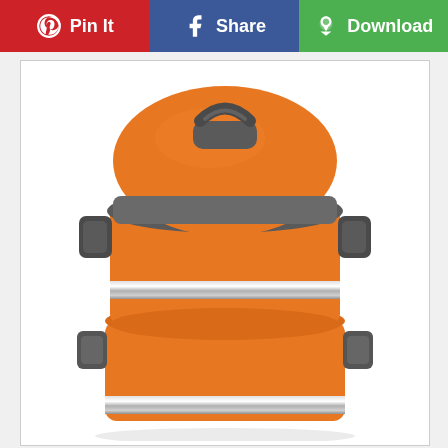Pin It | Share | Download
[Figure (photo): A two-tier orange stainless steel lunch box (tiffin carrier) with gray rubber/plastic clips on the sides and a gray lid with a handle on top. The container has chrome/silver banding at the junction of each tier. The bottom tier is partially visible. White background.]